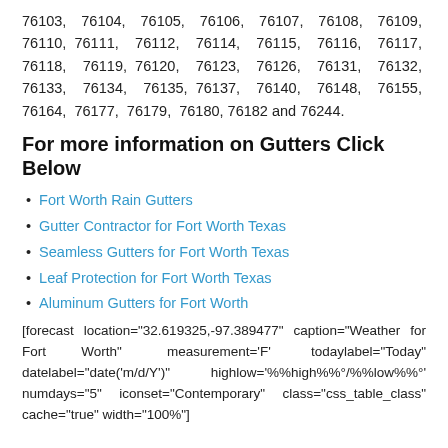76103, 76104, 76105, 76106, 76107, 76108, 76109, 76110, 76111, 76112, 76114, 76115, 76116, 76117, 76118, 76119, 76120, 76123, 76126, 76131, 76132, 76133, 76134, 76135, 76137, 76140, 76148, 76155, 76164, 76177, 76179, 76180, 76182 and 76244.
For more information on Gutters Click Below
Fort Worth Rain Gutters
Gutter Contractor for Fort Worth Texas
Seamless Gutters for Fort Worth Texas
Leaf Protection for Fort Worth Texas
Aluminum Gutters for Fort Worth
[forecast location="32.619325,-97.389477" caption="Weather for Fort Worth" measurement='F' todaylabel="Today" datelabel="date('m/d/Y')" highlow='%%high%%°/%%low%%°' numdays="5" iconset="Contemporary" class="css_table_class" cache="true" width="100%"]